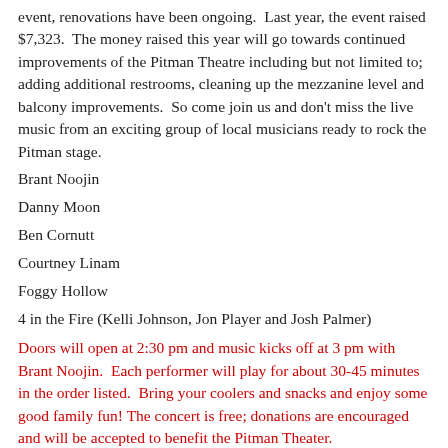event, renovations have been ongoing.  Last year, the event raised $7,323.  The money raised this year will go towards continued improvements of the Pitman Theatre including but not limited to; adding additional restrooms, cleaning up the mezzanine level and balcony improvements.  So come join us and don't miss the live music from an exciting group of local musicians ready to rock the Pitman stage.
Brant Noojin
Danny Moon
Ben Cornutt
Courtney Linam
Foggy Hollow
4 in the Fire (Kelli Johnson, Jon Player and Josh Palmer)
Doors will open at 2:30 pm and music kicks off at 3 pm with Brant Noojin.  Each performer will play for about 30-45 minutes in the order listed.  Bring your coolers and snacks and enjoy some good family fun! The concert is free; donations are encouraged and will be accepted to benefit the Pitman Theater.
[Figure (infographic): Row of three social sharing buttons: Facebook (f), Twitter (bird), and email (envelope icon)]
← Previous    Next →
Community Development Public Hearing Scheduled    Leaf pick up season begins for Public Works